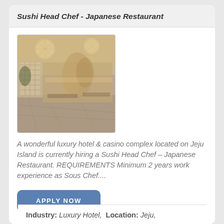Sushi Head Chef - Japanese Restaurant
[Figure (photo): Interior of a luxury hotel lobby with decorative globe chandeliers, marble floors, and ornate wall panels]
A wonderful luxury hotel & casino complex located on Jeju Island is currently hiring a Sushi Head Chef – Japanese Restaurant. REQUIREMENTS Minimum 2 years work experience as Sous Chef....
APPLY NOW
Industry: Luxury Hotel,  Location: Jeju,